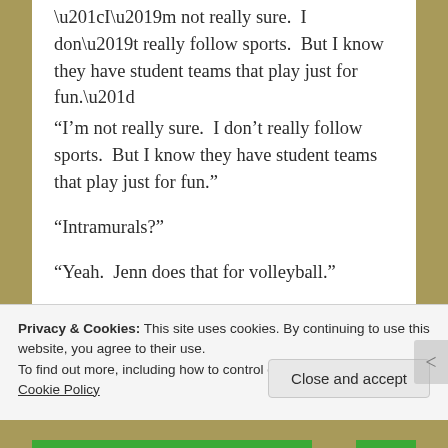“I’m not really sure.  I don’t really follow sports.  But I know they have student teams that play just for fun.”
“Intramurals?”
“Yeah.  Jenn does that for volleyball.”
“Do you and your roommates get along okay?” I asked.  “No conflict or anything?”
“Yeah. So — while my roommates and —
Privacy & Cookies: This site uses cookies. By continuing to use this website, you agree to their use.
To find out more, including how to control cookies, see here: Cookie Policy
Close and accept